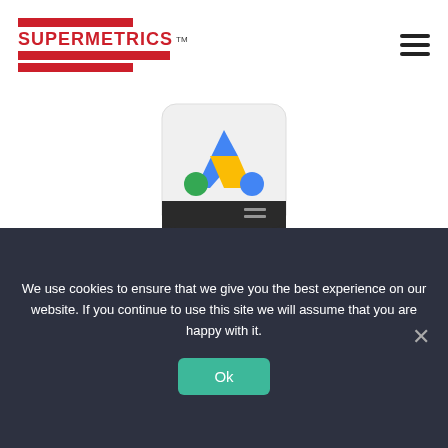[Figure (logo): Supermetrics logo with red bars and text]
[Figure (illustration): Google Ads product icon — stylized 'A' with blue, yellow, green colors on a rounded rectangle with dark bottom]
Google Ads
Try
[Figure (illustration): JSON/CSV file icon on a rounded rectangle]
We use cookies to ensure that we give you the best experience on our website. If you continue to use this site we will assume that you are happy with it.
Ok